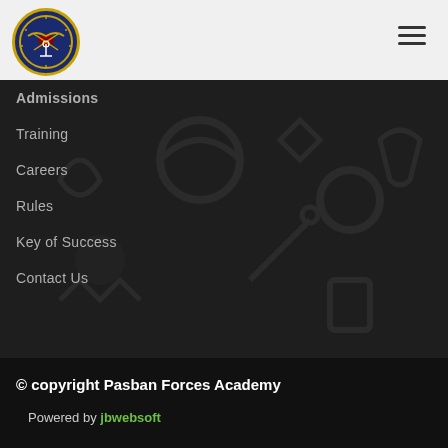[Figure (logo): Pasban Forces Academy circular logo with eagle, anchor, and swords on dark blue background with gold border, text 'PASBAN FORCES ACADEMY RAWALPINDI']
Admissions
Training
Careers
Rules
Key of Success
Contact Us
© copyright Pasban Forces Academy
    Powered by jbwebsoft